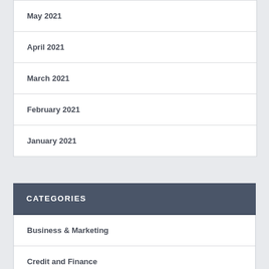May 2021
April 2021
March 2021
February 2021
January 2021
CATEGORIES
Business & Marketing
Credit and Finance